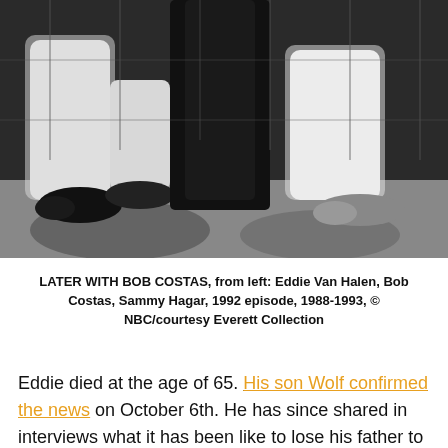[Figure (photo): Black and white photograph showing three people seated, visible from roughly the waist down, in what appears to be a TV set. The subjects are wearing casual clothes and shoes. 'LATER WITH BOB COSTAS' episode featuring Eddie Van Halen, Bob Costas, and Sammy Hagar, 1992.]
LATER WITH BOB COSTAS, from left: Eddie Van Halen, Bob Costas, Sammy Hagar, 1992 episode, 1988-1993, © NBC/courtesy Everett Collection
Eddie died at the age of 65. His son Wolf confirmed the news on October 6th. He has since shared in interviews what it has been like to lose his father to cancer. RIP Eddie!